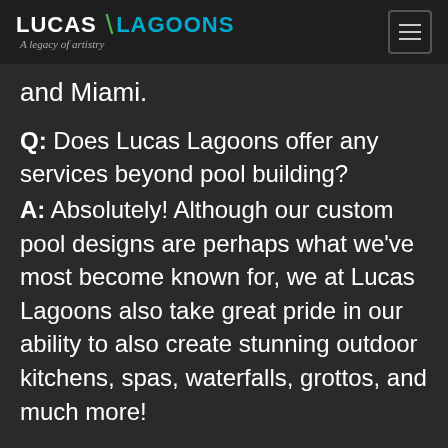LUCAS LAGOONS – A legacy of artistry
and Miami.
Q: Does Lucas Lagoons offer any services beyond pool building? A: Absolutely! Although our custom pool designs are perhaps what we've most become known for, we at Lucas Lagoons also take great pride in our ability to also create stunning outdoor kitchens, spas, waterfalls, grottos, and much more!
So, Are YOU Ready To